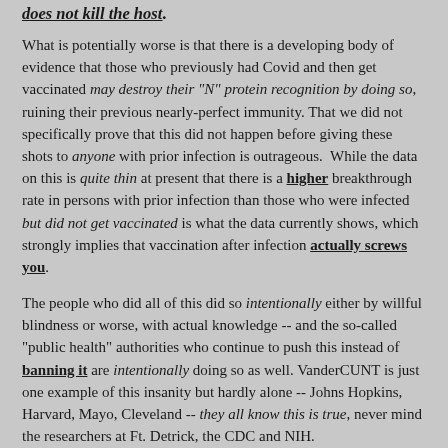does not kill the host.
What is potentially worse is that there is a developing body of evidence that those who previously had Covid and then get vaccinated may destroy their "N" protein recognition by doing so, ruining their previous nearly-perfect immunity. That we did not specifically prove that this did not happen before giving these shots to anyone with prior infection is outrageous. While the data on this is quite thin at present that there is a higher breakthrough rate in persons with prior infection than those who were infected but did not get vaccinated is what the data currently shows, which strongly implies that vaccination after infection actually screws you.
The people who did all of this did so intentionally either by willful blindness or worse, with actual knowledge -- and the so-called "public health" authorities who continue to push this instead of banning it are intentionally doing so as well. VanderCUNT is just one example of this insanity but hardly alone -- Johns Hopkins, Harvard, Mayo, Cleveland -- they all know this is true, never mind the researchers at Ft. Detrick, the CDC and NIH.